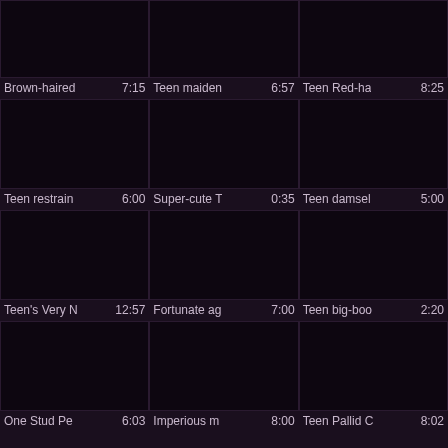[Figure (screenshot): Video thumbnail grid showing 12 video items in a 3x4 layout with titles and durations]
Brown-haired | 7:15
Teen maiden | 6:57
Teen Red-ha | 8:25
Teen restrain | 6:00
Super-cute T | 0:35
Teen damsel | 5:00
Teen's Very N | 12:57
Fortunate ag | 7:00
Teen big-boo | 2:20
One Stud Pe | 6:03
Imperious m | 8:00
Teen Pallid C | 8:02